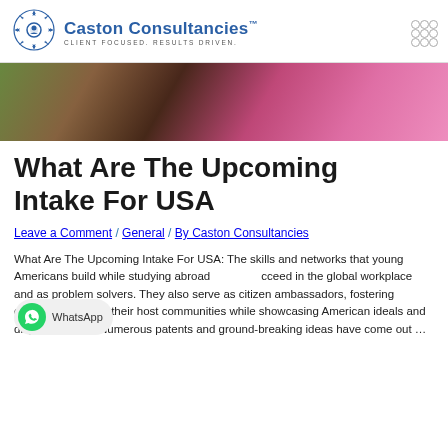Caston Consultancies™ CLIENT FOCUSED. RESULTS DRIVEN.
[Figure (photo): Hero image showing a person wearing a pink top with a backpack, with greenery in the background]
What Are The Upcoming Intake For USA
Leave a Comment / General / By Caston Consultancies
What Are The Upcoming Intake For USA: The skills and networks that young Americans build while studying abroad [help them] cceed in the global workplace and as problem solvers. They also serve as citizen ambassadors, fostering connections within their host communities while showcasing American ideals and dispelling myths.Numerous patents and ground-breaking ideas have come out …